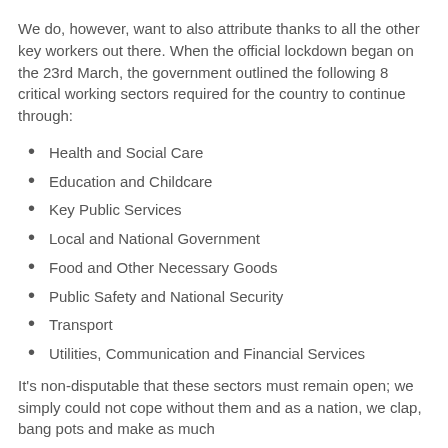We do, however, want to also attribute thanks to all the other key workers out there. When the official lockdown began on the 23rd March, the government outlined the following 8 critical working sectors required for the country to continue through:
Health and Social Care
Education and Childcare
Key Public Services
Local and National Government
Food and Other Necessary Goods
Public Safety and National Security
Transport
Utilities, Communication and Financial Services
It's non-disputable that these sectors must remain open; we simply could not cope without them and as a nation, we clap, bang pots and make as much